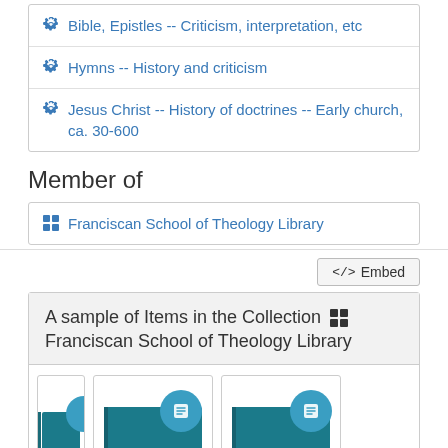Bible, Epistles -- Criticism, interpretation, etc
Hymns -- History and criticism
Jesus Christ -- History of doctrines -- Early church, ca. 30-600
Member of
Franciscan School of Theology Library
Embed
A sample of Items in the Collection Franciscan School of Theology Library
[Figure (screenshot): Three partially visible book cover thumbnails with teal book icons and circular badge icons]